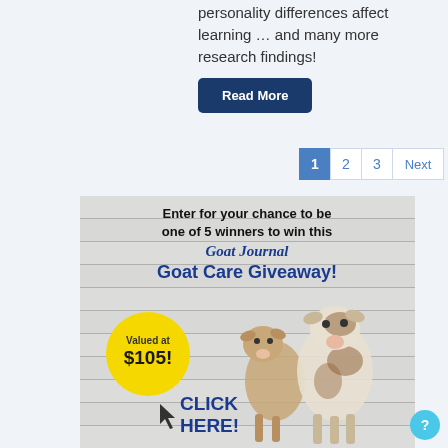personality differences affect learning … and many more research findings!
Read More
1 2 3 Next
[Figure (illustration): Advertisement banner for Goat Journal Goat Care Giveaway. Text reads: 'Enter for your chance to be one of 5 winners to win this Goat Journal Goat Care Giveaway!' with a yellow circle badge reading 'Valued at $105!' and two baby goats pictured. Bottom text: 'CLICK HERE!']